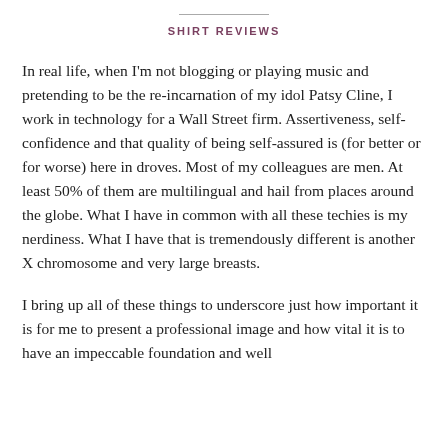SHIRT REVIEWS
In real life, when I'm not blogging or playing music and pretending to be the re-incarnation of my idol Patsy Cline, I work in technology for a Wall Street firm. Assertiveness, self-confidence and that quality of being self-assured is (for better or for worse) here in droves. Most of my colleagues are men. At least 50% of them are multilingual and hail from places around the globe. What I have in common with all these techies is my nerdiness. What I have that is tremendously different is another X chromosome and very large breasts.
I bring up all of these things to underscore just how important it is for me to present a professional image and how vital it is to have an impeccable foundation and well